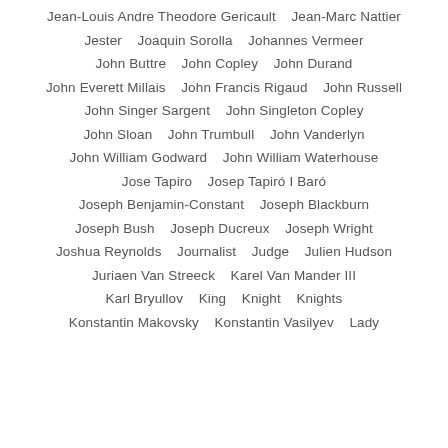Jean-Louis Andre Theodore Gericault   Jean-Marc Nattier
Jester   Joaquin Sorolla   Johannes Vermeer
John Buttre   John Copley   John Durand
John Everett Millais   John Francis Rigaud   John Russell
John Singer Sargent   John Singleton Copley
John Sloan   John Trumbull   John Vanderlyn
John William Godward   John William Waterhouse
Jose Tapiro   Josep Tapiró I Baró
Joseph Benjamin-Constant   Joseph Blackburn
Joseph Bush   Joseph Ducreux   Joseph Wright
Joshua Reynolds   Journalist   Judge   Julien Hudson
Juriaen Van Streeck   Karel Van Mander III
Karl Bryullov   King   Knight   Knights
Konstantin Makovsky   Konstantin Vasilyev   Lady